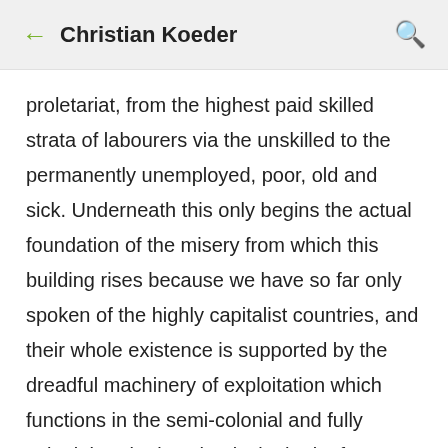Christian Koeder
proletariat, from the highest paid skilled strata of labourers via the unskilled to the permanently unemployed, poor, old and sick. Underneath this only begins the actual foundation of the misery from which this building rises because we have so far only spoken of the highly capitalist countries, and their whole existence is supported by the dreadful machinery of exploitation which functions in the semi-colonial and fully colonial territories, that is, in the by far largest part of this planet. Vast areas of the Balkans are a house of torture, the mass misery in India, China, Africa transcends all concepts. Below the spaces in which, in